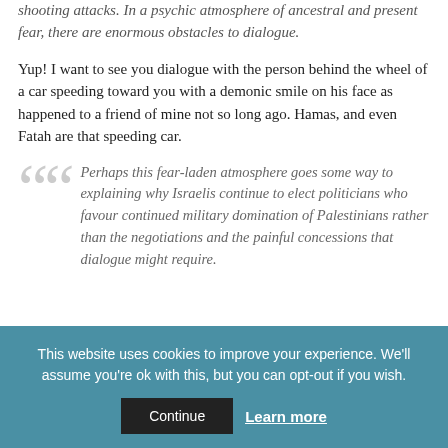from Gaza, suicide bombers, and stabbing and shooting attacks. In a psychic atmosphere of ancestral and present fear, there are enormous obstacles to dialogue.
Yup! I want to see you dialogue with the person behind the wheel of a car speeding toward you with a demonic smile on his face as happened to a friend of mine not so long ago. Hamas, and even Fatah are that speeding car.
Perhaps this fear-laden atmosphere goes some way to explaining why Israelis continue to elect politicians who favour continued military domination of Palestinians rather than the negotiations and the painful concessions that dialogue might require.
This website uses cookies to improve your experience. We'll assume you're ok with this, but you can opt-out if you wish.